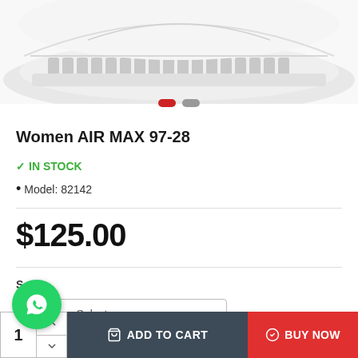[Figure (photo): White Nike Air Max 97-28 women's sneaker shown from the side, partially cropped at the top of the page]
[Figure (infographic): Carousel navigation dots: one red pill-shaped dot and one gray pill-shaped dot indicating image gallery position]
Women AIR MAX 97-28
✓ IN STOCK
• Model: 82142
$125.00
--- Please Select ---
[Figure (logo): WhatsApp circular green button with phone/chat icon]
1  ADD TO CART  BUY NOW